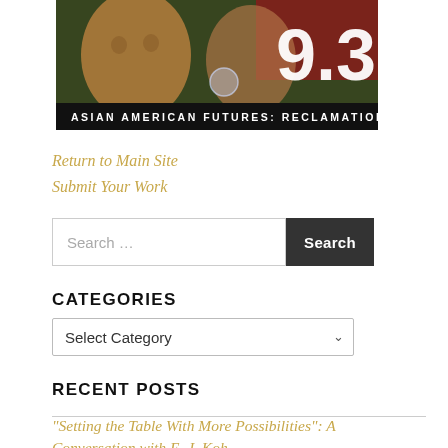[Figure (illustration): Magazine cover image showing painted portraits of Asian American figures with large white text '9.3' and a dark banner reading 'ASIAN AMERICAN FUTURES: RECLAMATION']
Return to Main Site
Submit Your Work
Search ...
CATEGORIES
Select Category
RECENT POSTS
“Setting the Table With More Possibilities”: A Conversation with E. J. Koh